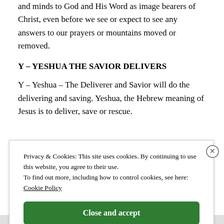and minds to God and His Word as image bearers of Christ, even before we see or expect to see any answers to our prayers or mountains moved or removed.
Y – YESHUA THE SAVIOR DELIVERS
Y – Yeshua – The Deliverer and Savior will do the delivering and saving. Yeshua, the Hebrew meaning of Jesus is to deliver, save or rescue.
Privacy & Cookies: This site uses cookies. By continuing to use this website, you agree to their use.
To find out more, including how to control cookies, see here: Cookie Policy
Close and accept